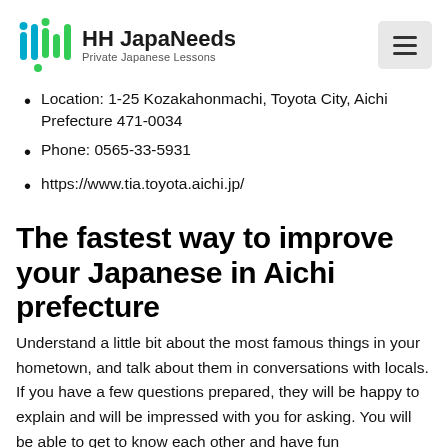HH JapaNeeds — Private Japanese Lessons
Location: 1-25 Kozakahonmachi, Toyota City, Aichi Prefecture 471-0034
Phone: 0565-33-5931
https://www.tia.toyota.aichi.jp/
The fastest way to improve your Japanese in Aichi prefecture
Understand a little bit about the most famous things in your hometown, and talk about them in conversations with locals. If you have a few questions prepared, they will be happy to explain and will be impressed with you for asking. You will be able to get to know each other and have fun conversations, which will improve